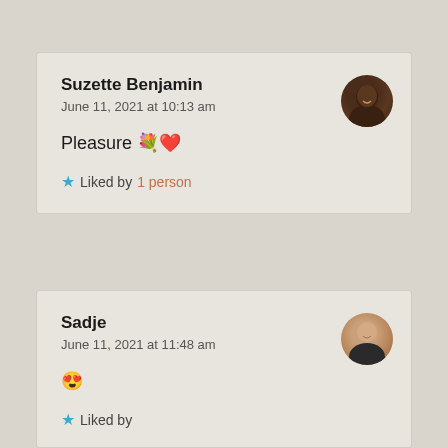Suzette Benjamin
June 11, 2021 at 10:13 am

Pleasure 💐❤️

★ Liked by 1 person
Sadje
June 11, 2021 at 11:48 am

😍